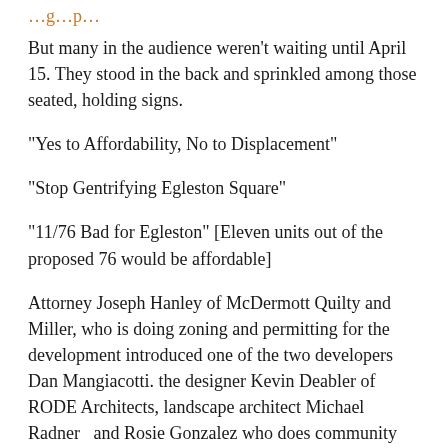…g…p…
But many in the audience weren't waiting until April 15. They stood in the back and sprinkled among those seated, holding signs.
"Yes to Affordability, No to Displacement"
"Stop Gentrifying Egleston Square"
"11/76 Bad for Egleston" [Eleven units out of the proposed 76 would be affordable]
Attorney Joseph Hanley of McDermott Quilty and Miller, who is doing zoning and permitting for the development introduced one of the two developers Dan Mangiacotti. the designer Kevin Deabler of RODE Architects, landscape architect Michael Radner  and Rosie Gonzalez who does community outreach.